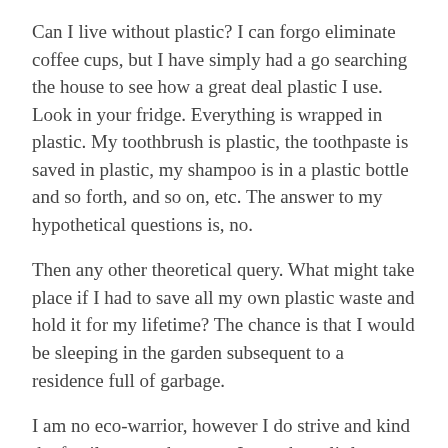Can I live without plastic? I can forgo eliminate coffee cups, but I have simply had a go searching the house to see how a great deal plastic I use. Look in your fridge. Everything is wrapped in plastic. My toothbrush is plastic, the toothpaste is saved in plastic, my shampoo is in a plastic bottle and so forth, and so on, etc. The answer to my hypothetical questions is, no.
Then any other theoretical query. What might take place if I had to save all my own plastic waste and hold it for my lifetime? The chance is that I would be sleeping in the garden subsequent to a residence full of garbage.
I am no eco-warrior, however I do strive and kind the family waste, however I even have little knowledge of what occurs to it. I am happy to place it into the proper bin and watch the dustbin men take it away as soon as every week. When I throw out antique clothes I do not think about the landfills all the time growing. When I do away with plastic I